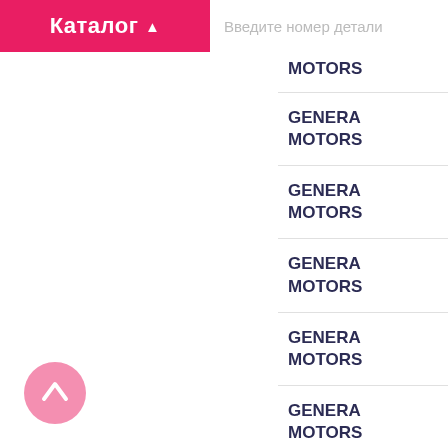Каталог ▲  Введите номер детали
MOTORS...
GENERA MOTORS
GENERA MOTORS
GENERA MOTORS
GENERA MOTORS
GENERA MOTORS